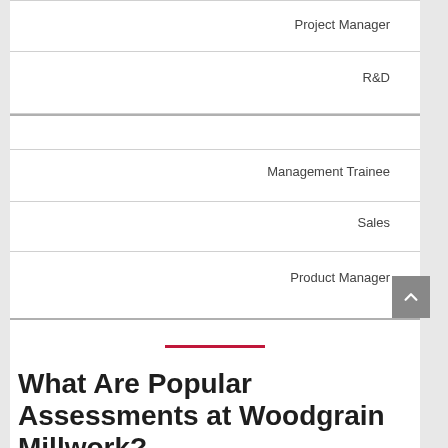Project Manager
R&D
Management Trainee
Sales
Product Manager
What Are Popular Assessments at Woodgrain Millwork?